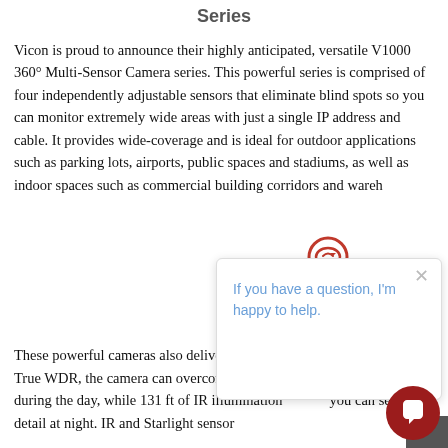Series
Vicon is proud to announce their highly anticipated, versatile V1000 360° Multi-Sensor Camera series. This powerful series is comprised of four independently adjustable sensors that eliminate blind spots so you can monitor extremely wide areas with just a single IP address and cable. It provides wide-coverage and is ideal for outdoor applications such as parking lots, airports, public spaces and stadiums, as well as indoor spaces such as commercial building corridors and warehouses.
[Figure (screenshot): Chat widget overlay with circular arrow icon in red/dark red, a close X button, and text 'If you have a question, I'm happy to help.' in blue on white background. A dark red circular chat button with chat icon appears in bottom right corner.]
These powerful cameras also deliver fantastic detail, day or night. With True WDR, the camera can overcome challenging lighting conditions during the day, while 131 ft of IR illumination ensures you can see every detail at night. IR and Starlight sensor